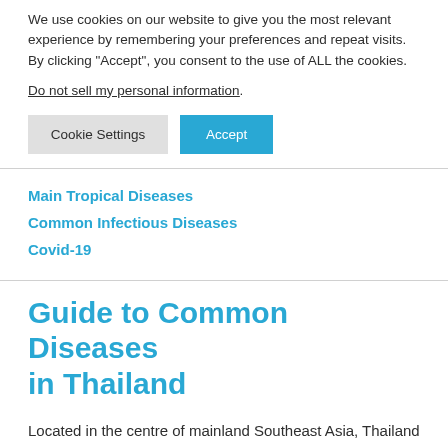We use cookies on our website to give you the most relevant experience by remembering your preferences and repeat visits. By clicking “Accept”, you consent to the use of ALL the cookies.
Do not sell my personal information.
Cookie Settings | Accept
Main Tropical Diseases
Common Infectious Diseases
Covid-19
Guide to Common Diseases in Thailand
Located in the centre of mainland Southeast Asia, Thailand has become a very popular tourist and expat destination mainly for its natural attractions. The